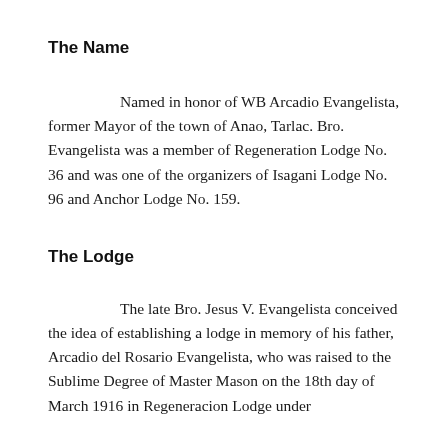The Name
Named in honor of WB Arcadio Evangelista, former Mayor of the town of Anao, Tarlac. Bro. Evangelista was a member of Regeneration Lodge No. 36 and was one of the organizers of Isagani Lodge No. 96 and Anchor Lodge No. 159.
The Lodge
The late Bro. Jesus V. Evangelista conceived the idea of establishing a lodge in memory of his father, Arcadio del Rosario Evangelista, who was raised to the Sublime Degree of Master Mason on the 18th day of March 1916 in Regeneracion Lodge under